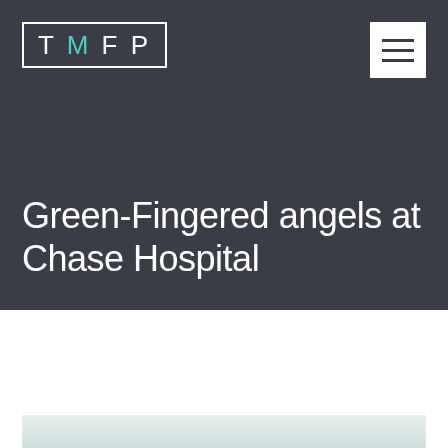[Figure (logo): TMFP logo — letters T M F P in white inside a rectangular border, with the M rendered in teal, on a dark charcoal background]
Green-Fingered angels at Chase Hospital
IN ARCHIVE 09TH JAN 2017
[Figure (photo): Partial view of a hospital interior room — light-coloured ceiling and wall visible, cropped at bottom of page]